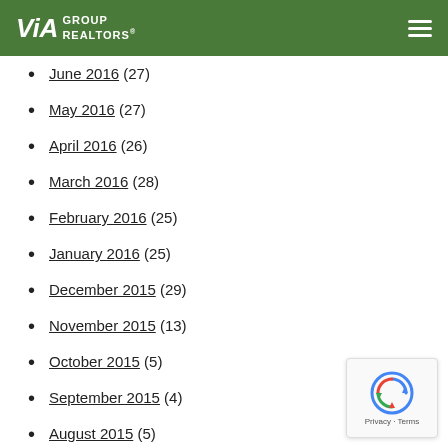VIA GROUP REALTORS
June 2016 (27)
May 2016 (27)
April 2016 (26)
March 2016 (28)
February 2016 (25)
January 2016 (25)
December 2015 (29)
November 2015 (13)
October 2015 (5)
September 2015 (4)
August 2015 (5)
July 2015 (5)